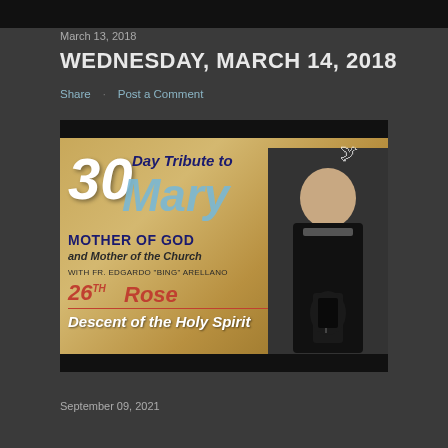[Figure (photo): Dark image bar at top]
March 13, 2018
WEDNESDAY, MARCH 14, 2018
Share   Post a Comment
[Figure (photo): Video thumbnail: 30 Day Tribute to Mary Mother of God and Mother of the Church with Fr. Edgardo Bing Arellano - 26th Rose Descent of the Holy Spirit. Shows a priest holding a Bible.]
September 09, 2021